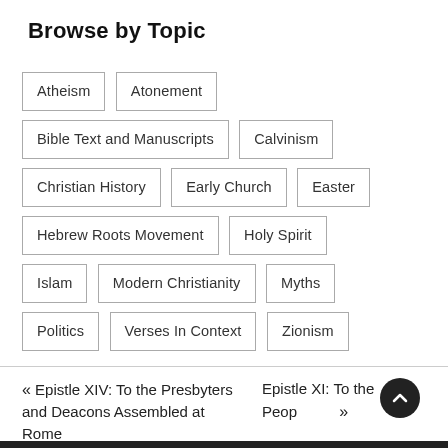Browse by Topic
Atheism
Atonement
Bible Text and Manuscripts
Calvinism
Christian History
Early Church
Easter
Hebrew Roots Movement
Holy Spirit
Islam
Modern Christianity
Myths
Politics
Verses In Context
Zionism
« Epistle XIV: To the Presbyters and Deacons Assembled at Rome
Epistle XI: To the People »